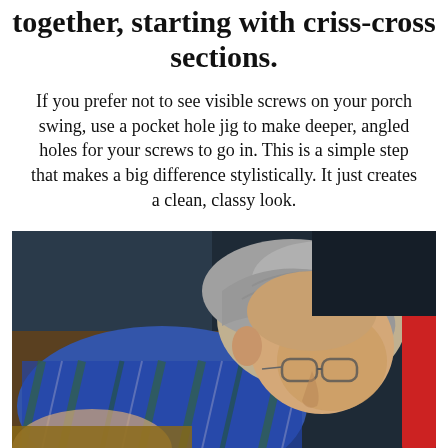together, starting with criss-cross sections.
If you prefer not to see visible screws on your porch swing, use a pocket hole jig to make deeper, angled holes for your screws to go in. This is a simple step that makes a big difference stylistically. It just creates a clean, classy look.
[Figure (photo): An older man with grey hair and glasses wearing a blue plaid shirt, leaning over and working on a woodworking project, photographed from above and slightly to the side.]